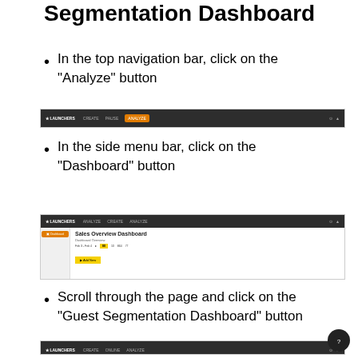Segmentation Dashboard
In the top navigation bar, click on the “Analyze” button
[Figure (screenshot): Screenshot of a dark navigation bar with menu items including LAUNCHERS, CREATE, PAUSE, ANALYZE (highlighted in orange)]
In the side menu bar, click on the “Dashboard” button
[Figure (screenshot): Screenshot of a dashboard interface showing Sales Overview Dashboard with a sidebar button highlighted in orange/red, stats row, and a yellow button]
Scroll through the page and click on the “Guest Segmentation Dashboard” button
[Figure (screenshot): Partial screenshot of dark navigation bar at bottom of page]